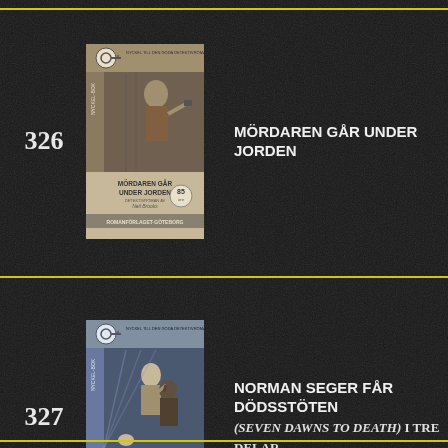326
[Figure (photo): Book cover of 'Mördaren Går Under Jorden', a Swedish detective novel published by Romanförlaget-Göteborg, price 85 öre, showing a dramatic scene with a figure holding a gun]
MÖRDAREN GÅR UNDER JORDEN
327
[Figure (photo): Book cover of 'Norman Seger Får Dödsstöten', a Swedish detective novel published by Romanförlaget-Göteborg, price 85 öre, showing two figures in a struggle, by Berkeley Gray]
NORMAN SEGER FÅR DÖDSSTÖTEN (Seven Dawns to Death) i tre delar